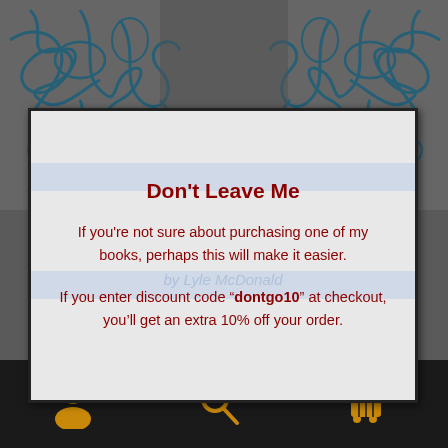[Figure (screenshot): Website popup modal with dark background and tangle/knot decorations at the top. Contains a discount code offer box with red text on light gray background, plus a bottom navigation bar with person, search, and cart icons.]
Don't Leave Me
If you're not sure about purchasing one of my books, perhaps this will make it easier.
If you enter discount code “dontgo10” at checkout, you’ll get an extra 10% off your order.